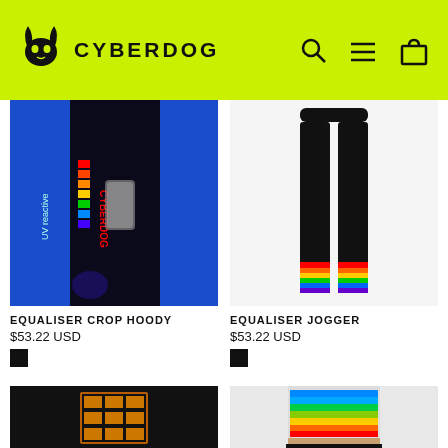CYBERDOG
[Figure (photo): Person wearing Equaliser Crop Hoody with UV reactive rainbow equaliser pattern, blue UV light background, text 'UV reactive' on left side]
EQUALISER CROP HOODY
$53.22 USD
[Figure (photo): Black jogger pants with rainbow equaliser pattern at the bottom cuffs, displayed on white background]
EQUALISER JOGGER
$53.22 USD
[Figure (photo): Black item with orange/amber rectangular light pattern, partially visible at bottom of page]
[Figure (photo): Woman wearing rainbow equaliser pattern crop top/bra with black high waist shorts, partially visible at bottom of page]